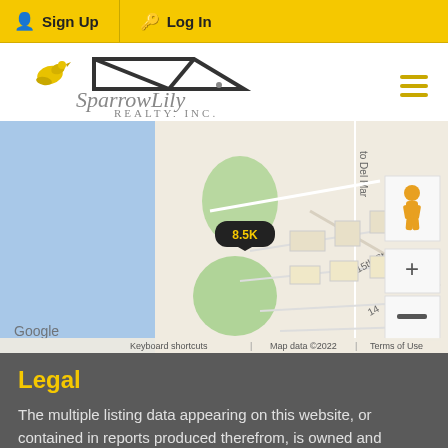Sign Up  Log In
[Figure (logo): SparrowLily Realty, Inc. logo with yellow sparrow bird and house outline]
[Figure (map): Google Maps view showing coastal area near 15th St and Del Mar, with 8.5K marker, street view pegman, zoom controls, and attribution: Google | Keyboard shortcuts | Map data ©2022 | Terms of Use]
Legal
The multiple listing data appearing on this website, or contained in reports produced therefrom, is owned and